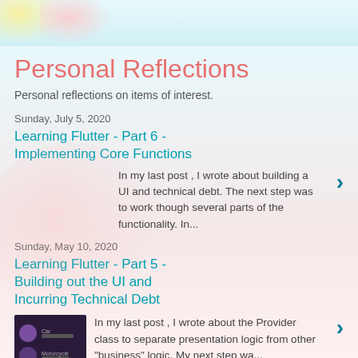Personal Reflections
Personal reflections on items of interest.
Sunday, July 5, 2020
Learning Flutter - Part 6 - Implementing Core Functions
In my last post , I wrote about building a UI and technical debt. The next step was to work though several parts of the functionality. In...
Sunday, May 10, 2020
Learning Flutter - Part 5 - Building out the UI and Incurring Technical Debt
In my last post , I wrote about the Provider class to separate presentation logic from other "business" logic. My next step wa...